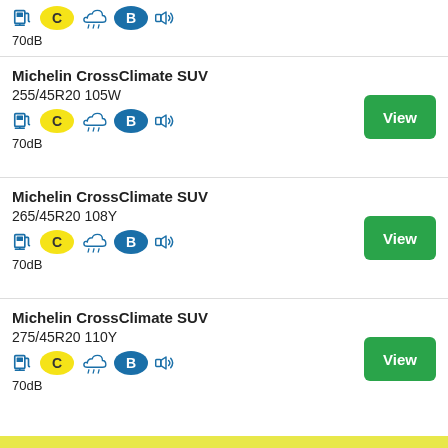70dB
Michelin CrossClimate SUV 255/45R20 105W, C, B, 70dB
Michelin CrossClimate SUV 265/45R20 108Y, C, B, 70dB
Michelin CrossClimate SUV 275/45R20 110Y, C, B, 70dB